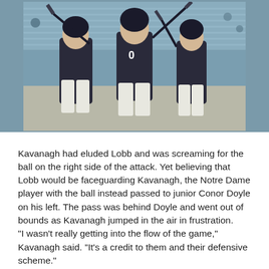[Figure (photo): Lacrosse players in dark uniforms holding sticks, stadium seats visible in background]
Kavanagh had eluded Lobb and was screaming for the ball on the right side of the attack. Yet believing that Lobb would be faceguarding Kavanagh, the Notre Dame player with the ball instead passed to junior Conor Doyle on his left. The pass was behind Doyle and went out of bounds as Kavanagh jumped in the air in frustration.
"I wasn't really getting into the flow of the game," Kavanagh said. "It's a credit to them and their defensive scheme."
Said Lobb: "Matt is a great player, so obviously going into the game he was a big part of our game plan. That was the game plan: make it hard for him to get the ball."
In the end, the Fighting Irish were left to regret 11 first-half turnovers — "we only played 20 good minutes," Corrigan said — and the Blue Devils were left to enjoy another national title, a third for Danowski.
"We coach to stay in the moment and be with these kids, and see what stuff we can do and what we can accomplish," he